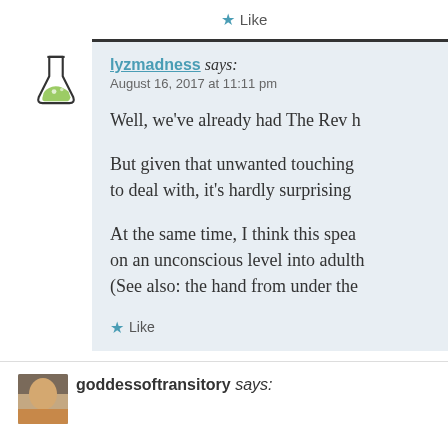Like
lyzmadness says:
August 16, 2017 at 11:11 pm
Well, we've already had The Rev h
But given that unwanted touching to deal with, it's hardly surprising
At the same time, I think this spea on an unconscious level into adulth (See also: the hand from under the
Like
goddessoftransitory says: